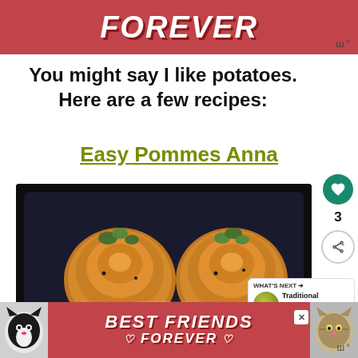[Figure (photo): Top advertisement banner with pink/red background showing 'FRIENDS FOREVER' text in bold italic white letters]
You might say I like potatoes. Here are a few recipes:
Easy Pommes Anna
[Figure (photo): Food photo showing two round Pommes Anna potato dishes on a dark background with herbs, with 'POMMES' watermark]
[Figure (photo): Bottom advertisement banner with pink/red background showing cats and 'BEST FRIENDS FOREVER' text with heart symbols]